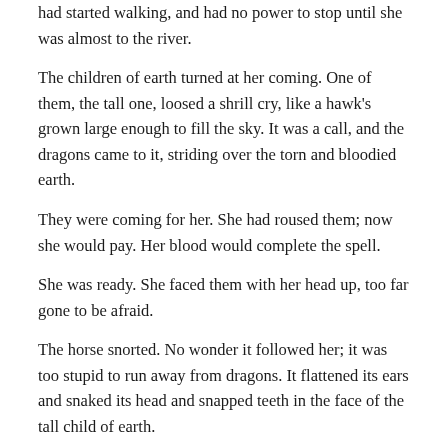had started walking, and had no power to stop until she was almost to the river.
The children of earth turned at her coming. One of them, the tall one, loosed a shrill cry, like a hawk's grown large enough to fill the sky. It was a call, and the dragons came to it, striding over the torn and bloodied earth.
They were coming for her. She had roused them; now she would pay. Her blood would complete the spell.
She was ready. She faced them with her head up, too far gone to be afraid.
The horse snorted. No wonder it followed her; it was too stupid to run away from dragons. It flattened its ears and snaked its head and snapped teeth in the face of the tall child of earth.